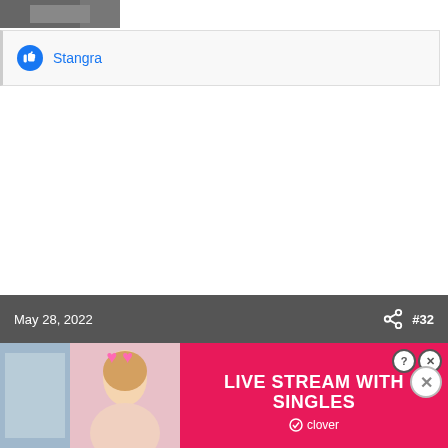[Figure (photo): Partial cropped photo at top left, dark toned image]
Stangra
May 28, 2022  #32
[Figure (photo): Advertisement banner: LIVE STREAM WITH SINGLES - clover dating app ad with blonde woman and pink hearts]